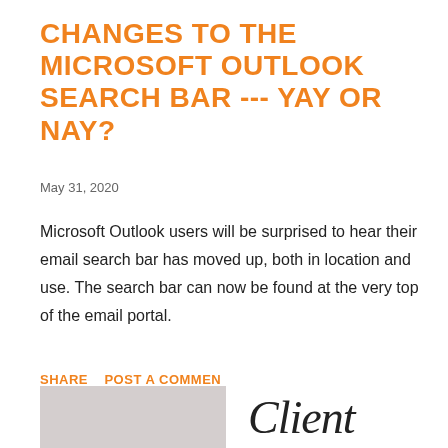CHANGES TO THE MICROSOFT OUTLOOK SEARCH BAR --- YAY OR NAY?
May 31, 2020
Microsoft Outlook users will be surprised to hear their email search bar has moved up, both in location and use. The search bar can now be found at the very top of the email portal.
SHARE   POST A COMMENT
[Figure (screenshot): Chat popup overlay with RCS logo, close button (×), and message 'Got any questions? I'm happy to help.' with an orange chat icon button in the bottom right corner]
[Figure (photo): Gray placeholder image at bottom left]
Client